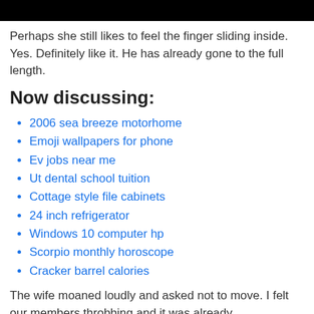[Figure (other): Black bar at top of page]
Perhaps she still likes to feel the finger sliding inside. Yes. Definitely like it. He has already gone to the full length.
Now discussing:
2006 sea breeze motorhome
Emoji wallpapers for phone
Ev jobs near me
Ut dental school tuition
Cottage style file cabinets
24 inch refrigerator
Windows 10 computer hp
Scorpio monthly horoscope
Cracker barrel calories
The wife moaned loudly and asked not to move. I felt our members throbbing and it was already